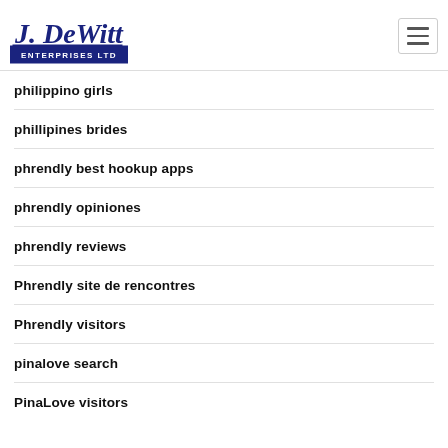J. DeWitt Enterprises Ltd
philippino girls
phillipines brides
phrendly best hookup apps
phrendly opiniones
phrendly reviews
Phrendly site de rencontres
Phrendly visitors
pinalove search
PinaLove visitors